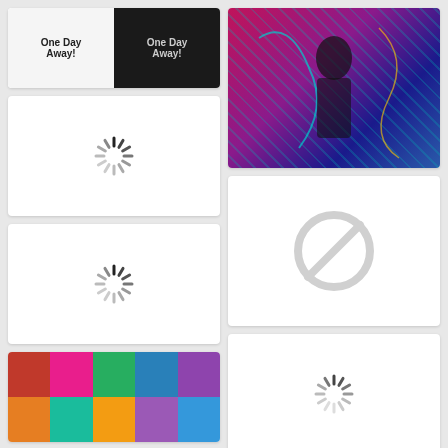[Figure (illustration): Two-panel artwork with graffiti-style text on white and black backgrounds]
[Figure (illustration): Loading spinner on white card]
[Figure (illustration): Loading spinner on white card]
[Figure (photo): Colorful artwork with figure in magenta/purple/teal tones, music-related poster]
[Figure (illustration): Blocked/unavailable image icon - circle with diagonal line]
[Figure (photo): Grid of athlete photos in colorful pop-art style, 5x2 arrangement]
[Figure (illustration): Loading spinner on white card]
[Figure (illustration): Handwritten text on cream/yellow background]